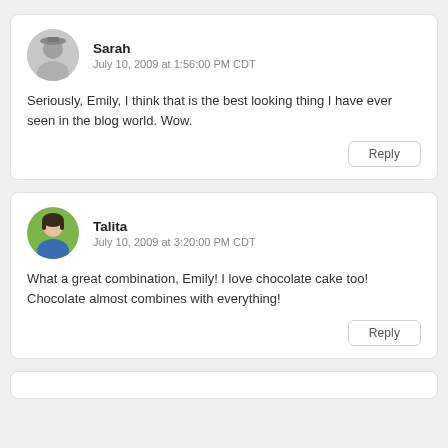Sarah
July 10, 2009 at 1:56:00 PM CDT
Seriously, Emily, I think that is the best looking thing I have ever seen in the blog world. Wow.
Reply
Talita
July 10, 2009 at 3:20:00 PM CDT
What a great combination, Emily! I love chocolate cake too! Chocolate almost combines with everything!
Reply